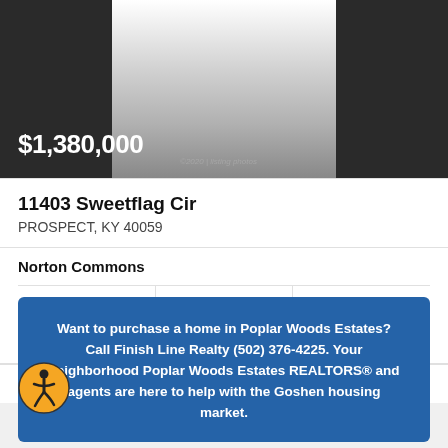[Figure (photo): Property exterior photo — dark sides with lighter center strip, price overlay]
$1,380,000
11403 Sweetflag Cir
PROSPECT, KY 40059
Norton Commons
5 Beds
4F 1½ Baths
4,346 Sq.Ft.
Norton Commons Realty
Want to purchase a home in Poplar Woods Estates? Call Finish Line Realty (502) 376-4225. Your neighborhood Poplar Woods Estates REALTORS® and agents are here to help with the Goshen housing market.